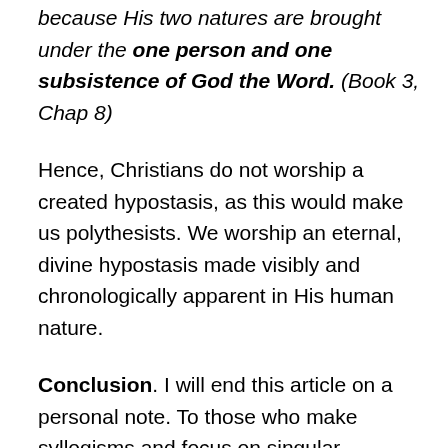because His two natures are brought under the one person and one subsistence of God the Word. (Book 3, Chap 8)
Hence, Christians do not worship a created hypostasis, as this would make us polythesists. We worship an eternal, divine hypostasis made visibly and chronologically apparent in His human nature.
Conclusion. I will end this article on a personal note. To those who make syllogisms and focus on singular statements of the fathers to the undoing of the whole Scriptural and Patristic witness, I would caution to take a step back and use common sense. Saint Gregory Palamas warns: “Let us flee from those who reject patristic interpretations and attempt by themselves to